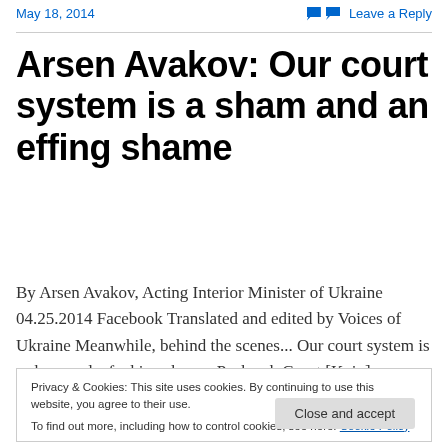May 18, 2014    Leave a Reply
Arsen Avakov: Our court system is a sham and an effing shame
By Arsen Avakov, Acting Interior Minister of Ukraine 04.25.2014 Facebook Translated and edited by Voices of Ukraine Meanwhile, behind the scenes... Our court system is a sham and a fucking shame. Pechersk Court [Kyiv].
Privacy & Cookies: This site uses cookies. By continuing to use this website, you agree to their use.
To find out more, including how to control cookies, see here: Cookie Policy
Close and accept